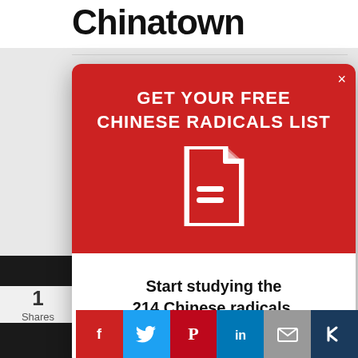Chinatown
[Figure (screenshot): Modal popup with red header saying GET YOUR FREE CHINESE RADICALS LIST with a document icon, and white body saying Start studying the 214 Chinese radicals. Sign up to get the list sent to your inbox.]
Start studying the 214 Chinese radicals.
Sign up to get the list sent to your inbox.
1
Shares